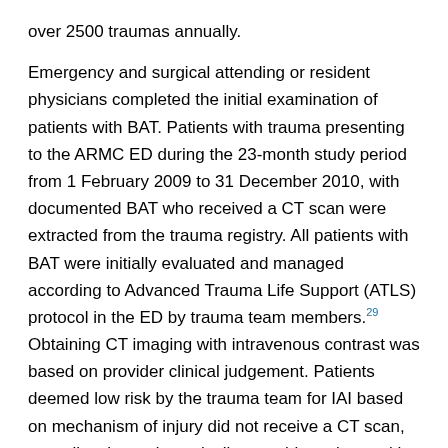over 2500 traumas annually.
Emergency and surgical attending or resident physicians completed the initial examination of patients with BAT. Patients with trauma presenting to the ARMC ED during the 23-month study period from 1 February 2009 to 31 December 2010, with documented BAT who received a CT scan were extracted from the trauma registry. All patients with BAT were initially evaluated and managed according to Advanced Trauma Life Support (ATLS) protocol in the ED by trauma team members.29 Obtaining CT imaging with intravenous contrast was based on provider clinical judgement. Patients deemed low risk by the trauma team for IAI based on mechanism of injury did not receive a CT scan, as well as hemodynamically unstable patients with BAT who were transferred directly to the operating room.29 These patients were not included in our analysis. Our institutional protocol for adult splenectomy is based on hemodynamic stability. Splenectomy is performed if the patient fails non-operative management based on hemodynamic instability. Based on this